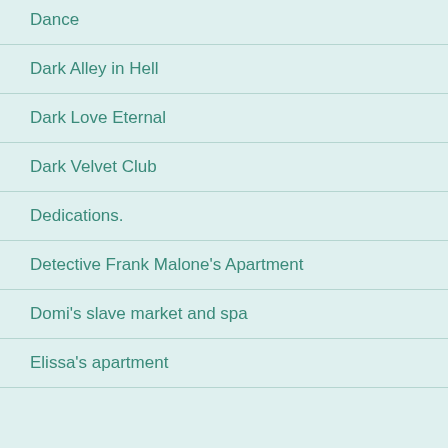Dance
Dark Alley in Hell
Dark Love Eternal
Dark Velvet Club
Dedications.
Detective Frank Malone's Apartment
Domi's slave market and spa
Elissa's apartment